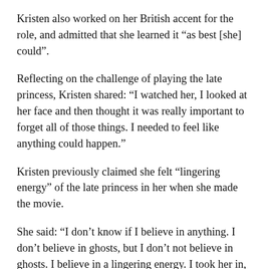Kristen also worked on her British accent for the role, and admitted that she learned it “as best [she] could”.
Reflecting on the challenge of playing the late princess, Kristen shared: “I watched her, I looked at her face and then thought it was really important to forget all of those things. I needed to feel like anything could happen.”
Kristen previously claimed she felt “lingering energy” of the late princess in her when she made the movie.
She said: “I don’t know if I believe in anything. I don’t believe in ghosts, but I don’t not believe in ghosts. I believe in a lingering energy. I took her in, whether or not it was my idea of her or there was some actual literal remnant of her.”